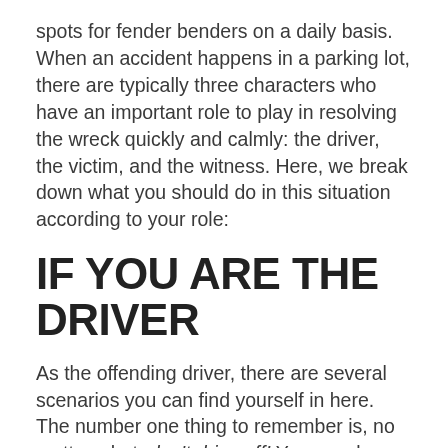spots for fender benders on a daily basis. When an accident happens in a parking lot, there are typically three characters who have an important role to play in resolving the wreck quickly and calmly: the driver, the victim, and the witness. Here, we break down what you should do in this situation according to your role:
IF YOU ARE THE DRIVER
As the offending driver, there are several scenarios you can find yourself in here. The number one thing to remember is, no matter what, don't drive off! You may be